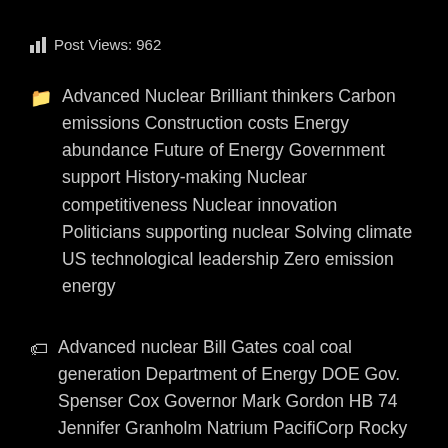Post Views: 962
Advanced Nuclear Brilliant thinkers Carbon emissions Construction costs Energy abundance Future of Energy Government support History-making Nuclear competitiveness Nuclear innovation Politicians supporting nuclear Solving climate US technological leadership Zero emission energy
Advanced nuclear Bill Gates coal coal generation Department of Energy DOE Gov. Spenser Cox Governor Mark Gordon HB 74 Jennifer Granholm Natrium PacifiCorp Rocky Mountain Power Secretary Granholm Secretary of Energy Sen. Barasso Small modular reactor